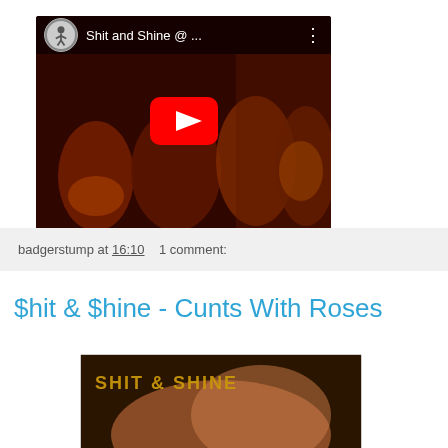[Figure (screenshot): YouTube video thumbnail showing 'Shit and Shine @ ...' with a red play button over a dark red-tinted concert scene]
badgerstump at 16:10    1 comment:
$hit & $hine - Cunts With Roses
[Figure (photo): Album cover for Shit & Shine 'Cunts With Roses' showing golden text on a dark warm-toned background]